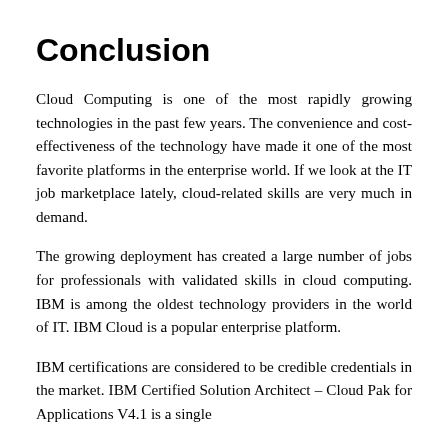Conclusion
Cloud Computing is one of the most rapidly growing technologies in the past few years. The convenience and cost-effectiveness of the technology have made it one of the most favorite platforms in the enterprise world. If we look at the IT job marketplace lately, cloud-related skills are very much in demand.
The growing deployment has created a large number of jobs for professionals with validated skills in cloud computing. IBM is among the oldest technology providers in the world of IT. IBM Cloud is a popular enterprise platform.
IBM certifications are considered to be credible credentials in the market. IBM Certified Solution Architect – Cloud Pak for Applications V4.1 is a single